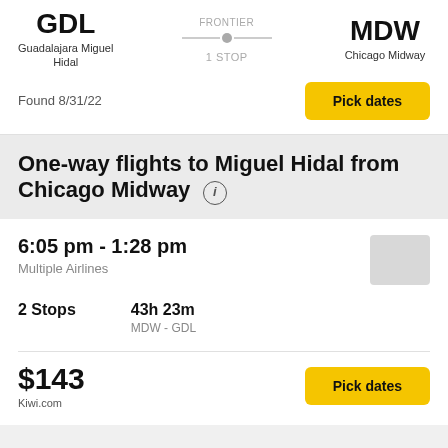GDL
Guadalajara Miguel Hidal
FRONTIER
1 STOP
MDW
Chicago Midway
Found 8/31/22
Pick dates
One-way flights to Miguel Hidal from Chicago Midway
6:05 pm - 1:28 pm
Multiple Airlines
2 Stops
43h 23m
MDW - GDL
$143
Kiwi.com
Pick dates